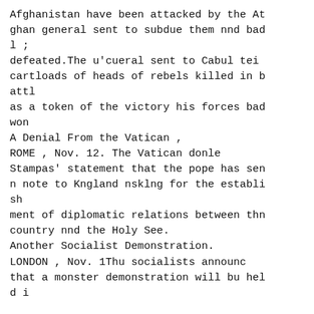Afghanistan have been attacked by the Afghan general sent to subdue them nnd bad l ;
defeated.The u'cueral sent to Cabul tei cartloads of heads of rebels killed in battl
as a token of the victory his forces bad won
A Denial From the Vatican ,
ROME , Nov. 12. The Vatican donle Stampas' statement that the pope has sen n note to Kngland nsklng for the establish
ment of diplomatic relations between thn country nnd the Holy See.
Another Socialist Demonstration.
LONDON , Nov. 1Thu socialists announc that a monster demonstration will bu hel d i